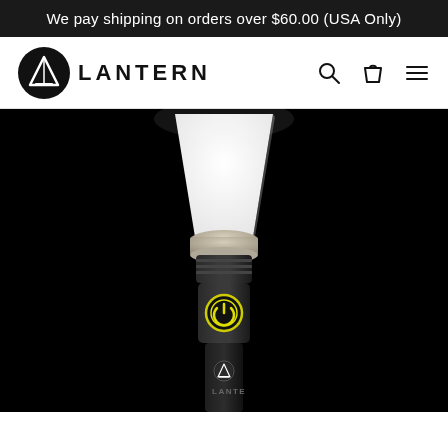We pay shipping on orders over $60.00 (USA Only)
[Figure (logo): Lantern brand logo with circular black emblem containing a triangle/lantern shape, and text LANTERN in bold uppercase]
[Figure (photo): Product photo of a Lantern flashlight/lantern device on black background. The device has a white diffuser top shaped like an inverted trapezoid, a metallic silver ring, a black body with a yellow power button, and the Lantern logo on the lower black handle.]